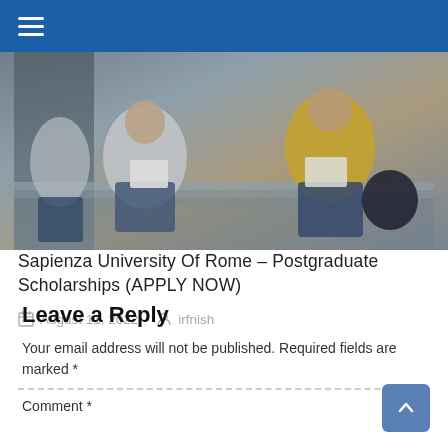Navigation menu
[Figure (photo): Students sitting on outdoor steps, studying and reading papers together. One student in a light sweater holds papers, another in yellow jacket sits across.]
Sapienza University Of Rome – Postgraduate Scholarships (APPLY NOW)
August 11, 2022   irfnish
Leave a Reply
Your email address will not be published. Required fields are marked *
Comment *